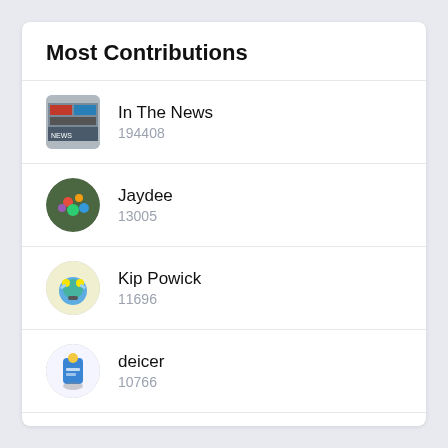Most Contributions
In The News
194408
Jaydee
13005
Kip Powick
11696
deicer
10766
dagger
9570